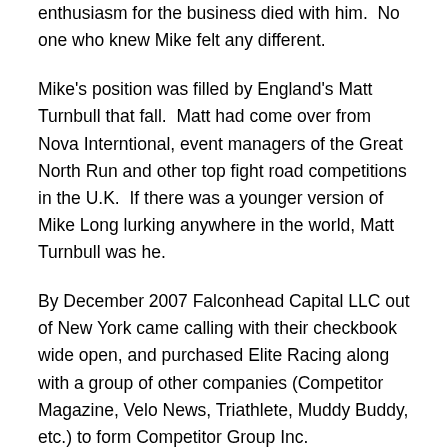enthusiasm for the business died with him.  No one who knew Mike felt any different.
Mike's position was filled by England's Matt Turnbull that fall.  Matt had come over from Nova Interntional, event managers of the Great North Run and other top fight road competitions in the U.K.  If there was a younger version of Mike Long lurking anywhere in the world, Matt Turnbull was he.
By December 2007 Falconhead Capital LLC out of New York came calling with their checkbook wide open, and purchased Elite Racing along with a group of other companies (Competitor Magazine, Velo News, Triathlete, Muddy Buddy, etc.) to form Competitor Group Inc.
So you see, what we now know as Competitor Group, which Falonhead Capital sold after five years to Celara